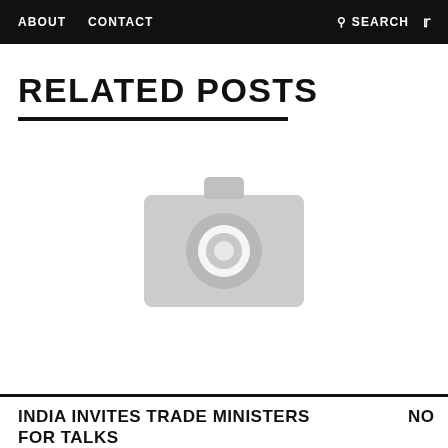ABOUT   CONTACT   🔍 SEARCH   🐦
RELATED POSTS
[Figure (photo): Gray placeholder image with a camera icon in the center, indicating a missing or unavailable image]
INDIA INVITES TRADE MINISTERS FOR TALKS   NO